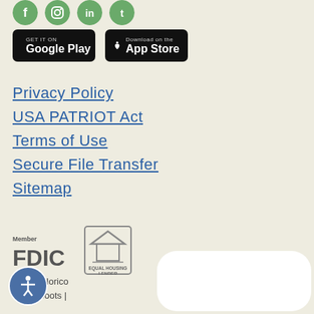[Figure (other): Social media icons (Facebook, Instagram, LinkedIn, Twitter) as green circles at top]
[Figure (other): Google Play and App Store download buttons]
Privacy Policy
USA PATRIOT Act
Terms of Use
Secure File Transfer
Sitemap
[Figure (logo): Member FDIC logo and Equal Housing Lender logo]
©2022 Horico
BaconBoots |